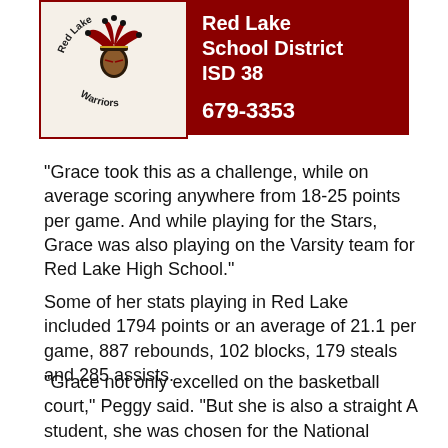[Figure (logo): Red Lake Warriors school district logo and contact banner with circular Native American chief mascot graphic and red background panel showing 'Red Lake School District ISD 38' and phone number '679-3353']
"Grace took this as a challenge, while on average scoring anywhere from 18-25 points per game. And while playing for the Stars, Grace was also playing on the Varsity team for Red Lake High School."
Some of her stats playing in Red Lake included 1794 points or an average of 21.1 per game, 887 rebounds, 102 blocks, 179 steals and 285 assists.
"Grace not only excelled on the basketball court," Peggy said. "But she is also a straight A student, she was chosen for the National Honor Society, student council, class president and homecoming queen...As you can see, Denver University is getting our best. But